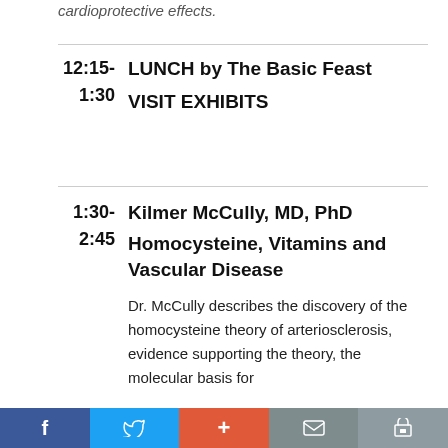cardioprotective effects.
12:15-1:30  LUNCH by The Basic Feast  VISIT EXHIBITS
1:30-2:45  Kilmer McCully, MD, PhD  Homocysteine, Vitamins and Vascular Disease  Dr. McCully describes the discovery of the homocysteine theory of arteriosclerosis, evidence supporting the theory, the molecular basis for